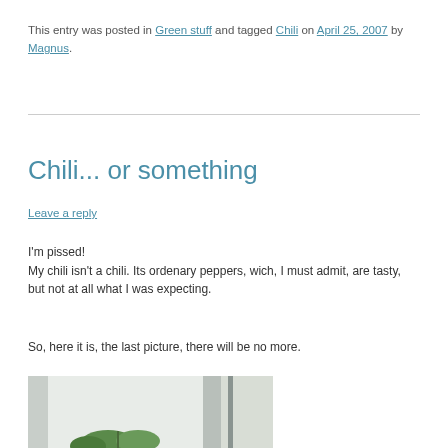This entry was posted in Green stuff and tagged Chili on April 25, 2007 by Magnus.
Chili... or something
Leave a reply
I'm pissed!
My chili isn't a chili. Its ordenary peppers, wich, I must admit, are tasty, but not at all what I was expecting.
So, here it is, the last picture, there will be no more.
[Figure (photo): Partial view of a plant near a window, cut off at the bottom of the page]